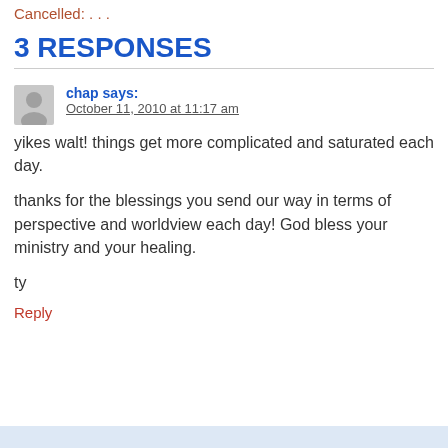Cancelled: . . .
3 RESPONSES
chap says:
October 11, 2010 at 11:17 am
yikes walt! things get more complicated and saturated each day.

thanks for the blessings you send our way in terms of perspective and worldview each day! God bless your ministry and your healing.

ty
Reply